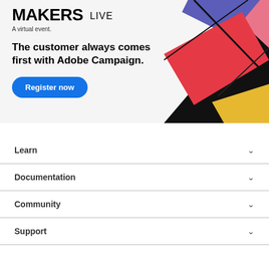MAKERS LIVE
A virtual event.
The customer always comes first with Adobe Campaign.
Register now
[Figure (illustration): Colorful geometric shapes — pink, blue, red, gold, black — stacked angular cards or panels forming a diagonal fan composition in the upper right corner of the banner.]
Learn
Documentation
Community
Support